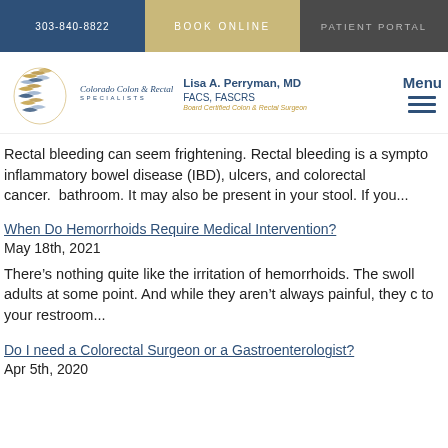303-840-8822 | BOOK ONLINE | PATIENT PORTAL
[Figure (logo): Colorado Colon & Rectal Specialists logo with stylized feather/scales graphic, Dr. Lisa A. Perryman MD FACS FASCRS, Board Certified Colon & Rectal Surgeon]
Rectal bleeding can seem frightening. Rectal bleeding is a symptom of inflammatory bowel disease (IBD), ulcers, and colorectal cancer. bathroom. It may also be present in your stool. If you...
When Do Hemorrhoids Require Medical Intervention?
May 18th, 2021
There’s nothing quite like the irritation of hemorrhoids. The swoll adults at some point. And while they aren’t always painful, they c to your restroom...
Do I need a Colorectal Surgeon or a Gastroenterologist?
Apr 5th, 2020